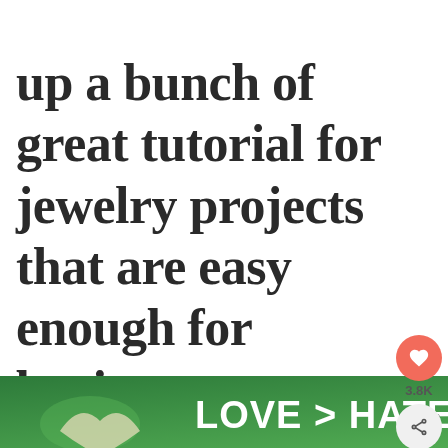up a bunch of great tutorial for jewelry projects that are easy enough for beginners to tackle but don't look it. Enjoy!
[Figure (screenshot): UI overlay with heart/save button showing 3.8K saves and a share button]
[Figure (photo): Left photo: small dark round earrings and white cube beads on white background]
[Figure (photo): Right photo: hands with red nails using jewelry pliers]
[Figure (infographic): What's Next panel: '20 Easy DIY Wood Projects' with thumbnail]
[Figure (photo): Ad banner at bottom: hands forming heart shape with LOVE > HATE text over green background]